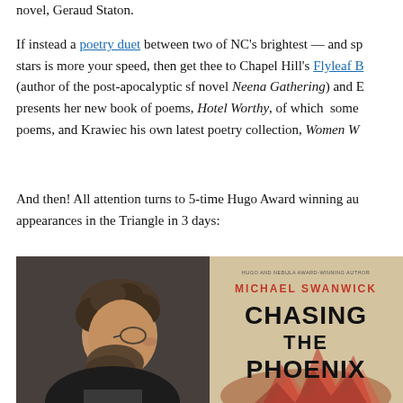novel, Geraud Staton.
If instead a poetry duet between two of NC's brightest — and sp stars is more your speed, then get thee to Chapel Hill's Flyleaf B (author of the post-apocalyptic sf novel Neena Gathering) and E presents her new book of poems, Hotel Worthy, of which some poems, and Krawiec his own latest poetry collection, Women W
And then! All attention turns to 5-time Hugo Award winning au appearances in the Triangle in 3 days:
[Figure (photo): Photo of a bearded man with curly hair and glasses, shown in profile, wearing a dark jacket.]
[Figure (illustration): Book cover of 'Chasing the Phoenix' by Michael Swanwick. Hugo and Nebula Award-winning author. Large bold title text on a tan/parchment background with red and orange flame imagery.]